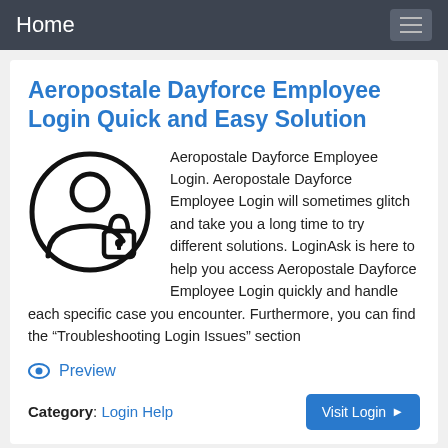Home
Aeropostale Dayforce Employee Login Quick and Easy Solution
Aeropostale Dayforce Employee Login. Aeropostale Dayforce Employee Login will sometimes glitch and take you a long time to try different solutions. LoginAsk is here to help you access Aeropostale Dayforce Employee Login quickly and handle each specific case you encounter. Furthermore, you can find the “Troubleshooting Login Issues” section
Preview
Category: Login Help
Pl...